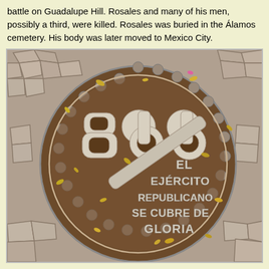battle on Guadalupe Hill. Rosales and many of his men, possibly a third, were killed. Rosales was buried in the Álamos cemetery. His body was later moved to Mexico City.
[Figure (photo): A decorative stone or metal manhole cover / medallion set in cobblestone pavement. The circular medallion features raised numerals '866' and a diagonal bar (sword or rifle), with text reading 'EL EJERCITO REPUBLICANO SE CUBRE DE GLORIA'. Fallen leaves scattered around.]